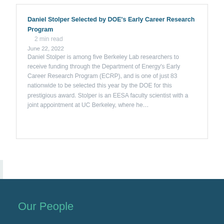Daniel Stolper Selected by DOE's Early Career Research Program
2 min read
June 22, 2022
Daniel Stolper is among five Berkeley Lab researchers to receive funding through the Department of Energy's Early Career Research Program (ECRP), and is one of just 83 nationwide to be selected this year by the DOE for this prestigious award. Stolper is an EESA faculty scientist with a joint appointment at UC Berkeley, where he…
Our People